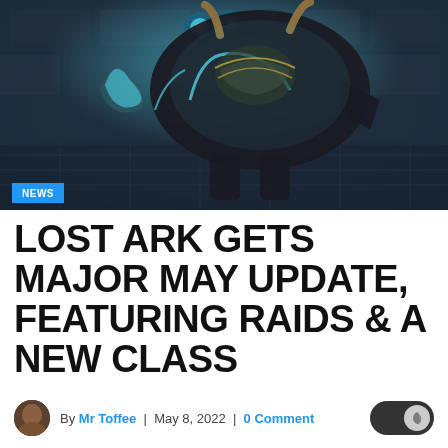[Figure (photo): Dark fantasy game screenshot showing a large armored minotaur-like creature with glowing teal/cyan accents, wielding a large axe, set in a stone dungeon environment with blue orbs floating above. NEWS badge overlay at bottom left.]
LOST ARK GETS MAJOR MAY UPDATE, FEATURING RAIDS & A NEW CLASS
By Mr Toffee | May 8, 2022 | 0 Comment